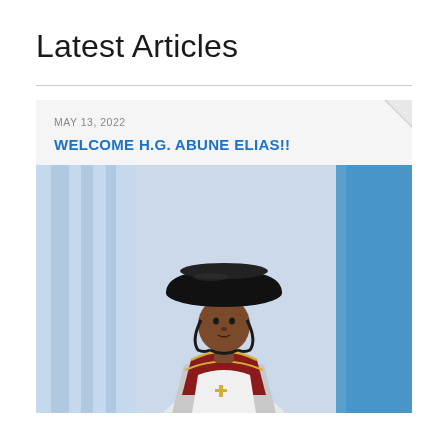Latest Articles
MAY 13, 2022
WELCOME H.G. ABUNE ELIAS!!
[Figure (photo): Portrait photo of H.G. Abune Elias wearing traditional Ethiopian Orthodox clergy vestments including a large black circular hat (qob) with chin strap, ornate red and gold embroidered robe/collar, against a soft blue background with draped curtains.]